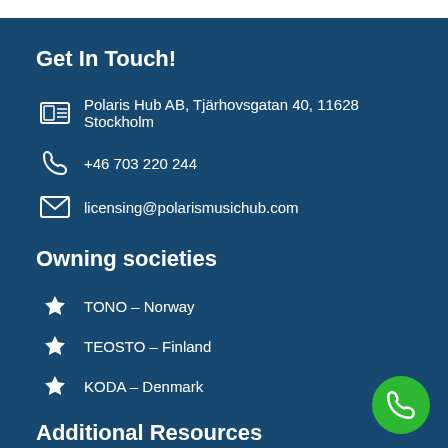Get In Touch!
Polaris Hub AB, Tjärhovsgatan 40, 11628 Stockholm
+46 703 220 244
licensing@polarismusichub.com
Owning societies
TONO – Norway
TEOSTO – Finland
KODA – Denmark
Additional Resources